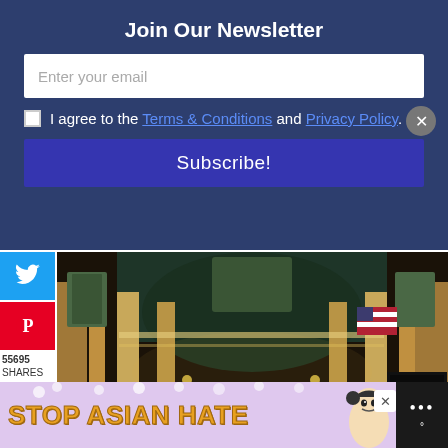Join Our Newsletter
Enter your email
I agree to the Terms & Conditions and Privacy Policy.
Subscribe!
[Figure (screenshot): Twitter share button (blue)]
[Figure (screenshot): Pinterest share button (red)]
55695
SHARES
[Figure (photo): Interior of Grand Central Terminal, New York City. Wide angle view showing the main concourse with arched windows, large American flag, crowds of people, and departure boards.]
[Figure (infographic): Advertisement banner reading STOP ASIAN HATE with illustrated figure and floral decoration on purple background. Close button (X) on right side. Dark panel on far right with white dots icon.]